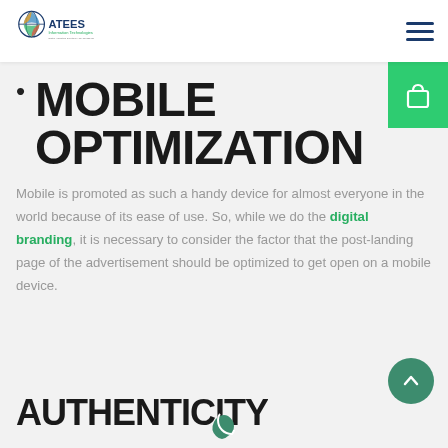ATEES Information Technologies
MOBILE OPTIMIZATION
Mobile is promoted as such a handy device for almost everyone in the world because of its ease of use. So, while we do the digital branding, it is necessary to consider the factor that the post-landing page of the advertisement should be optimized to get open on a mobile device.
AUTHENTICITY